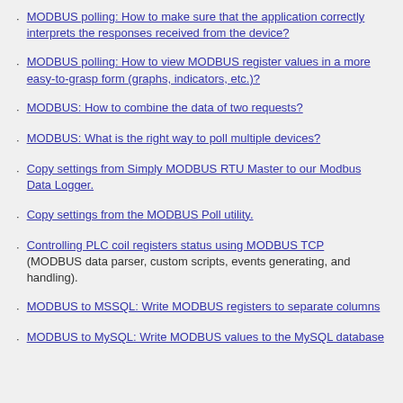MODBUS polling: How to make sure that the application correctly interprets the responses received from the device?
MODBUS polling: How to view MODBUS register values in a more easy-to-grasp form (graphs, indicators, etc.)?
MODBUS: How to combine the data of two requests?
MODBUS: What is the right way to poll multiple devices?
Copy settings from Simply MODBUS RTU Master to our Modbus Data Logger.
Copy settings from the MODBUS Poll utility.
Controlling PLC coil registers status using MODBUS TCP (MODBUS data parser, custom scripts, events generating, and handling).
MODBUS to MSSQL: Write MODBUS registers to separate columns
MODBUS to MySQL: Write MODBUS values to the MySQL database